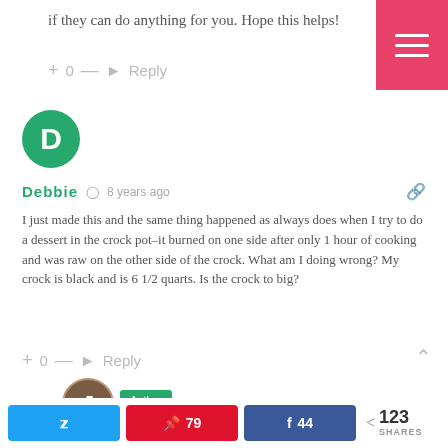if they can do anything for you. Hope this helps!
+ 0 — Reply
Debbie   8 years ago
I just made this and the same thing happened as always does when I try to do a dessert in the crock pot–it burned on one side after only 1 hour of cooking and was raw on the other side of the crock. What am I doing wrong? My crock is black and is 6 1/2 quarts. Is the crock to big?
+ 0 — Reply
[Figure (other): Author avatar with Author tag badge]
< 123 SHARES